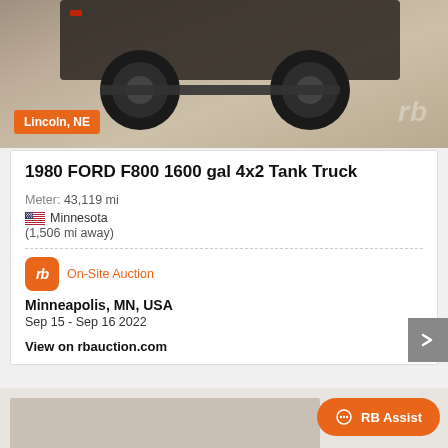[Figure (photo): Partial photo of a 1980 Ford F800 tank truck, showing the undercarriage and wheel area from below, on a gravel surface. A 'Lincoln, NE' orange badge overlays the bottom-left corner. An 'rb' watermark appears at bottom-right.]
1980 FORD F800 1600 gal 4x2 Tank Truck
Meter: 43,119 mi
🇺🇸 Minnesota
(1,506 mi away)
On-Site Auction
Minneapolis, MN, USA
Sep 15 - Sep 16 2022
View on rbauction.com